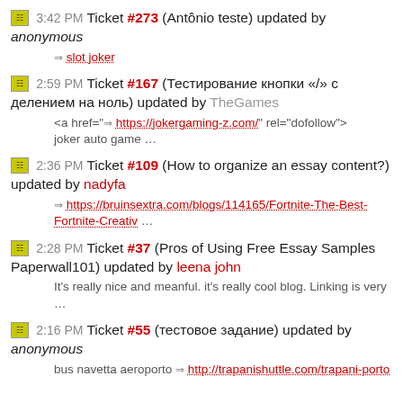3:42 PM Ticket #273 (Antônio teste) updated by anonymous → slot joker
2:59 PM Ticket #167 (Тестирование кнопки «/» с делением на ноль) updated by TheGames  <a href="→ https://jokergaming-z.com/" rel="dofollow"> joker auto game …
2:36 PM Ticket #109 (How to organize an essay content?) updated by nadyfa → https://bruinsextra.com/blogs/114165/Fortnite-The-Best-Fortnite-Creativ …
2:28 PM Ticket #37 (Pros of Using Free Essay Samples Paperwall101) updated by leena john It's really nice and meanful. it's really cool blog. Linking is very …
2:16 PM Ticket #55 (тестовое задание) updated by anonymous bus navetta aeroporto → http://trapanishuttle.com/trapani-porto